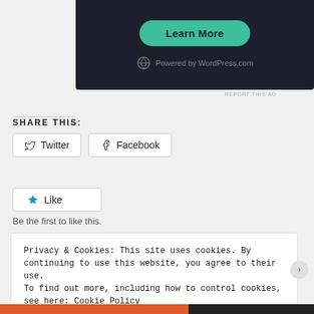[Figure (screenshot): Dark-background ad banner with a teal 'Learn More' rounded button and 'Powered by WordPress.com' text with WordPress logo]
REPORT THIS AD
SHARE THIS:
Twitter  Facebook
Like  Be the first to like this.
Privacy & Cookies: This site uses cookies. By continuing to use this website, you agree to their use.
To find out more, including how to control cookies, see here: Cookie Policy
Close and accept